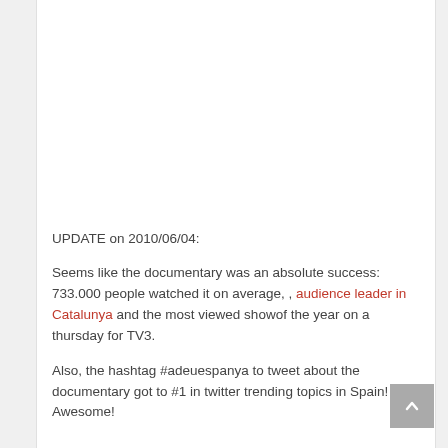UPDATE on 2010/06/04:
Seems like the documentary was an absolute success: 733.000 people watched it on average, , audience leader in Catalunya and the most viewed show of the year on a thursday for TV3.
Also, the hashtag #adeuespanya to tweet about the documentary got to #1 in twitter trending topics in Spain! Awesome!